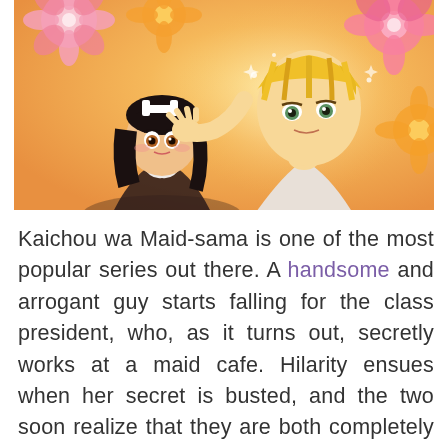[Figure (illustration): Anime illustration from Kaichou wa Maid-sama showing two characters: a girl with black hair wearing a maid headpiece and a tall blonde boy with green eyes, surrounded by pink and orange flowers on a warm golden background.]
Kaichou wa Maid-sama is one of the most popular series out there. A handsome and arrogant guy starts falling for the class president, who, as it turns out, secretly works at a maid cafe. Hilarity ensues when her secret is busted, and the two soon realize that they are both completely different people when they are